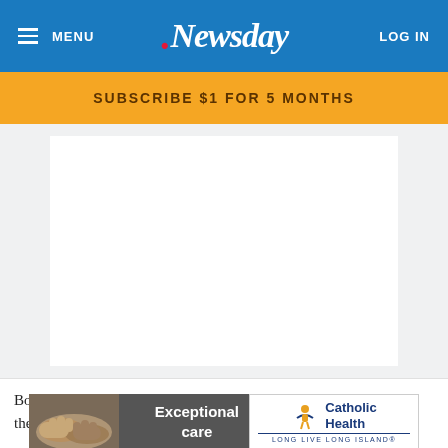MENU  Newsday  LOG IN
SUBSCRIBE $1 FOR 5 MONTHS
[Figure (other): Large white/grey blank content area, likely a placeholder for an image or video]
Boych... 26 of the se...
[Figure (photo): Advertisement: Catholic Health 'Exceptional care' ad with hands image on left and Catholic Health logo on right. Tagline: LONG LIVE LONG ISLAND]